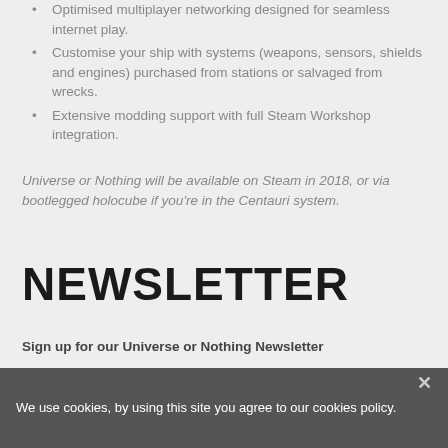Optimised multiplayer networking designed for seamless internet play.
Customise your ship with systems (weapons, sensors, shields and engines) purchased from stations or salvaged from wrecks.
Extensive modding support with full Steam Workshop integration.
Universe or Nothing will be available on Steam in 2018, or via bootlegged holocube if you're in the Centauri system.
NEWSLETTER
Sign up for our Universe or Nothing Newsletter
We use cookies, by using this site you agree to our cookies policy.